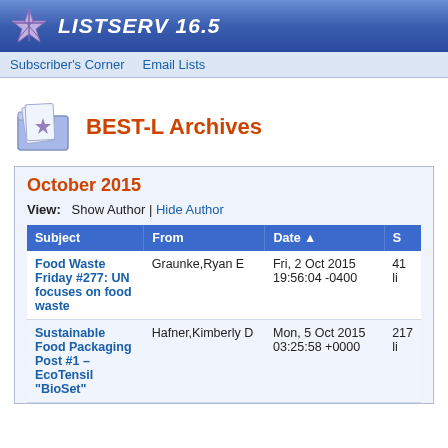LISTSERV 16.5
Subscriber's Corner | Email Lists
BEST-L Archives
October 2015
View: Show Author | Hide Author
| Subject | From | Date ▲ | S |
| --- | --- | --- | --- |
| Food Waste Friday #277: UN focuses on food waste | Graunke,Ryan E | Fri, 2 Oct 2015 19:56:04 -0400 | 41 li |
| Sustainable Food Packaging Post #1 – EcoTensil "BioSet" | Hafner,Kimberly D | Mon, 5 Oct 2015 03:25:58 +0000 | 217 li |